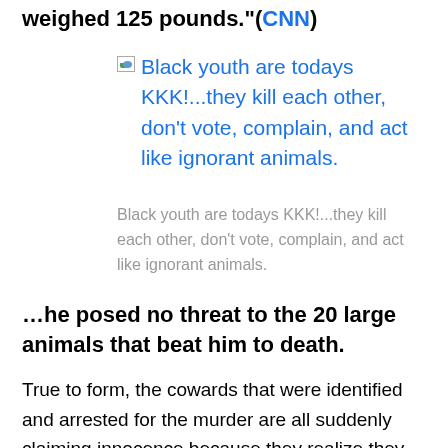weighed 125 pounds."(CNN)
[Figure (other): Placeholder image icon followed by linked text: Black youth are todays KKK!...they kill each other, don't vote, complain, and act like ignorant animals.]
Black youth are todays KKK!...they kill each other, don't vote, complain, and act like ignorant animals.
…he posed no threat to the 20 large animals that beat him to death.
True to form, the cowards that were identified and arrested for the murder are all suddenly claiming innocence because they realize they could all be facing a death